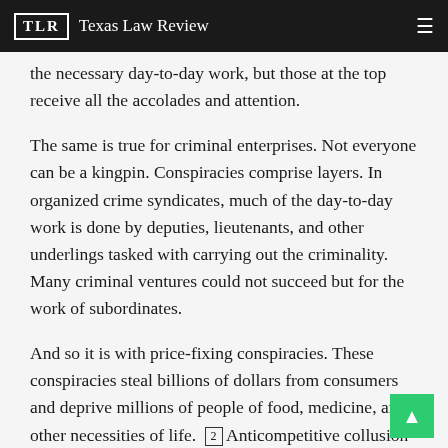TLR | Texas Law Review
the necessary day-to-day work, but those at the top receive all the accolades and attention.
The same is true for criminal enterprises. Not everyone can be a kingpin. Conspiracies comprise layers. In organized crime syndicates, much of the day-to-day work is done by deputies, lieutenants, and other underlings tasked with carrying out the criminality. Many criminal ventures could not succeed but for the work of subordinates.
And so it is with price-fixing conspiracies. These conspiracies steal billions of dollars from consumers and deprive millions of people of food, medicine, and other necessities of life. [2] Anticompetitive collusion is not the work of corporations, but of people. Although generally initiated by senior executives, price-fixing cartels often depend on the work of middle managers and ordinary salespeople who exchange sensitive pricing plans and sales data, monitor compliance with illegal cartel agreements,